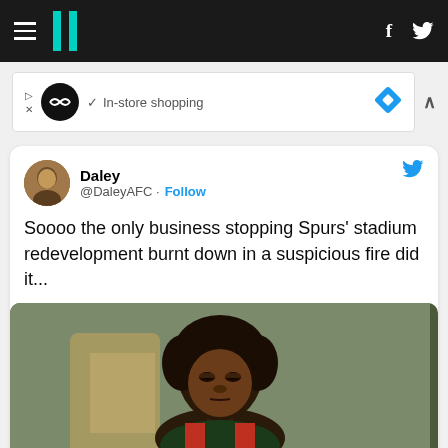HuffPost navigation bar with hamburger menu, logo, Facebook and Twitter icons
[Figure (screenshot): Advertisement banner: in-store shopping ad with logo circle, checkmark text, and diamond icon]
[Figure (screenshot): Tweet from @DaleyAFC with avatar, Follow button, tweet text, and embedded image of a young boy making a skeptical expression]
Soooo the only business stopping Spurs' stadium redevelopment burnt down in a suspicious fire did it...